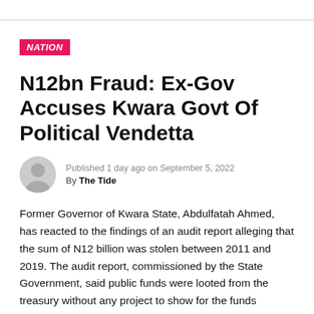NATION
N12bn Fraud: Ex-Gov Accuses Kwara Govt Of Political Vendetta
Published 1 day ago on September 5, 2022
By The Tide
Former Governor of Kwara State, Abdulfatah Ahmed, has reacted to the findings of an audit report alleging that the sum of N12 billion was stolen between 2011 and 2019. The audit report, commissioned by the State Government, said public funds were looted from the treasury without any project to show for the funds withdrawn
Mr Ahmed, a member of the People's Democratic Party